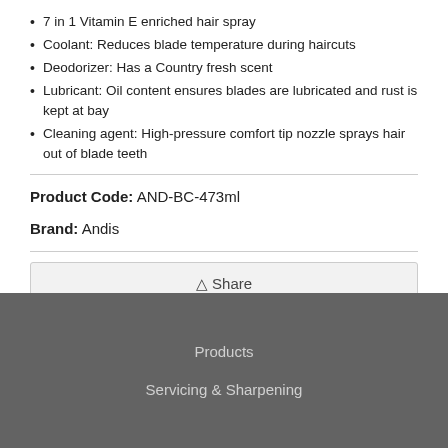7 in 1 Vitamin E enriched hair spray
Coolant: Reduces blade temperature during haircuts
Deodorizer: Has a Country fresh scent
Lubricant: Oil content ensures blades are lubricated and rust is kept at bay
Cleaning agent: High-pressure comfort tip nozzle sprays hair out of blade teeth
Product Code: AND-BC-473ml
Brand: Andis
Share
Products
Servicing & Sharpening